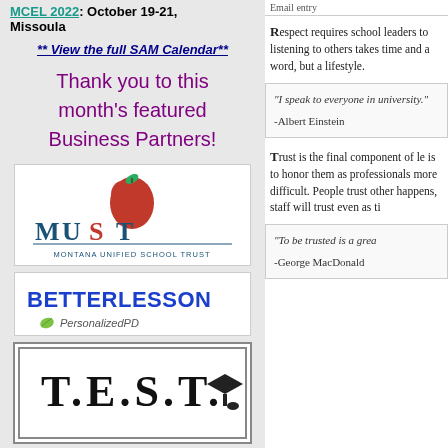MCEL 2022: October 19-21, Missoula
** View the full SAM Calendar**
Thank you to this month's featured Business Partners!
[Figure (logo): Montana Unified School Trust (MUST) logo with apple graphic]
[Figure (logo): BetterLesson PersonalizedPD logo]
[Figure (logo): T.E.S.T. logo with graduation cap]
Respect requires school leaders to... listening to others takes time and... a word, but a lifestyle.
“I speak to everyone in... university.” -Albert Einstein
Trust is the final component of le... is to honor them as professionals... more difficult. People trust other... happens, staff will trust even as ti...
“To be trusted is a grea... -George MacDonald